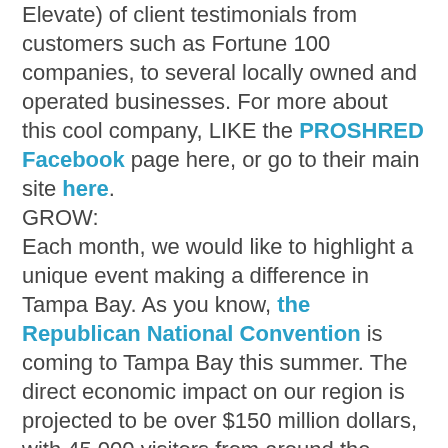Elevate) of client testimonials from customers such as Fortune 100 companies, to several locally owned and operated businesses. For more about this cool company, LIKE the PROSHRED Facebook page here, or go to their main site here.
GROW:
Each month, we would like to highlight a unique event making a difference in Tampa Bay. As you know, the Republican National Convention is coming to Tampa Bay this summer. The direct economic impact on our region is projected to be over $150 million dollars, with 45,000 visitors from around the world in town that week. At Elevate, we want to make sure our friends with small businesses GROW during this unique opportunity.